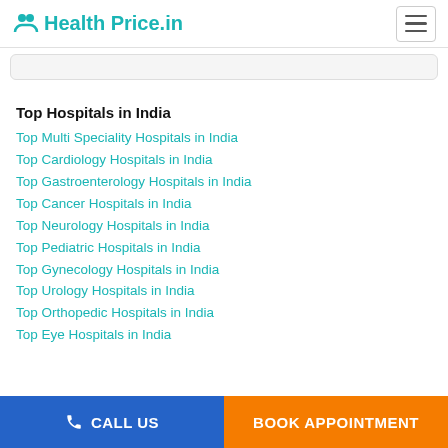Health Price.in
Top Hospitals in India
Top Multi Speciality Hospitals in India
Top Cardiology Hospitals in India
Top Gastroenterology Hospitals in India
Top Cancer Hospitals in India
Top Neurology Hospitals in India
Top Pediatric Hospitals in India
Top Gynecology Hospitals in India
Top Urology Hospitals in India
Top Orthopedic Hospitals in India
Top Eye Hospitals in India
CALL US | BOOK APPOINTMENT